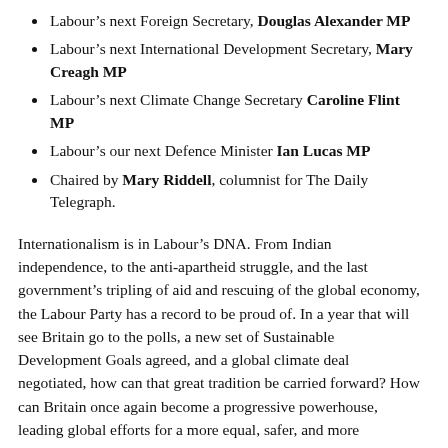Labour's next Foreign Secretary, Douglas Alexander MP
Labour's next International Development Secretary, Mary Creagh MP
Labour's next Climate Change Secretary Caroline Flint MP
Labour's our next Defence Minister Ian Lucas MP
Chaired by Mary Riddell, columnist for The Daily Telegraph.
Internationalism is in Labour's DNA. From Indian independence, to the anti-apartheid struggle, and the last government's tripling of aid and rescuing of the global economy, the Labour Party has a record to be proud of. In a year that will see Britain go to the polls, a new set of Sustainable Development Goals agreed, and a global climate deal negotiated, how can that great tradition be carried forward? How can Britain once again become a progressive powerhouse, leading global efforts for a more equal, safer, and more prosperous world?